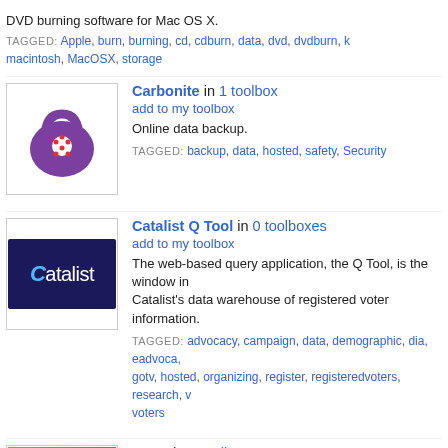DVD burning software for Mac OS X.
TAGGED: Apple, burn, burning, cd, cdburn, data, dvd, dvdburn, macintosh, MacOSX, storage
Carbonite in 1 toolbox
add to my toolbox
Online data backup.
TAGGED: backup, data, hosted, safety, Security
Catalist Q Tool in 0 toolboxes
add to my toolbox
The web-based query application, the Q Tool, is the window in Catalist's data warehouse of registered voter information.
TAGGED: advocacy, campaign, data, demographic, dia, eadvoca, gotv, hosted, organizing, register, registeredvoters, research, voters
CDex in 1 toolbox
add to my toolbox
CDex is a tool that enables you to extract digital data directly from an Audio CD into plain WAV files (useful for making compilation CDs) or compressed using an audio encoder.